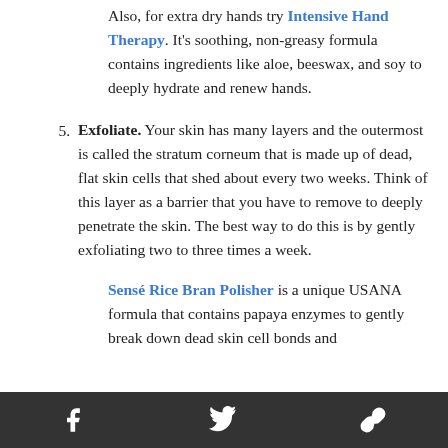Also, for extra dry hands try Intensive Hand Therapy. It's soothing, non-greasy formula contains ingredients like aloe, beeswax, and soy to deeply hydrate and renew hands.
5. Exfoliate. Your skin has many layers and the outermost is called the stratum corneum that is made up of dead, flat skin cells that shed about every two weeks. Think of this layer as a barrier that you have to remove to deeply penetrate the skin. The best way to do this is by gently exfoliating two to three times a week.
Sensé Rice Bran Polisher is a unique USANA formula that contains papaya enzymes to gently break down dead skin cell bonds and
[Facebook] [Twitter] [Link]